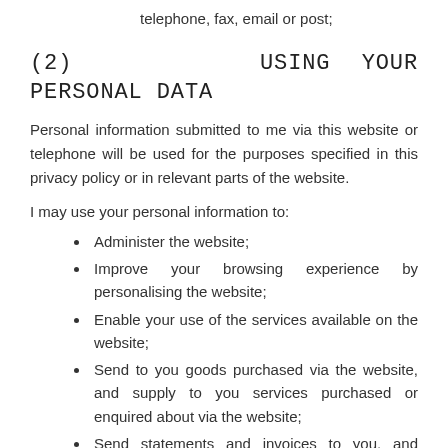telephone, fax, email or post;
(2)   USING YOUR PERSONAL DATA
Personal information submitted to me via this website or telephone will be used for the purposes specified in this privacy policy or in relevant parts of the website.
I may use your personal information to:
Administer the website;
Improve your browsing experience by personalising the website;
Enable your use of the services available on the website;
Send to you goods purchased via the website, and supply to you services purchased or enquired about via the website;
Send statements and invoices to you, and collect payments from